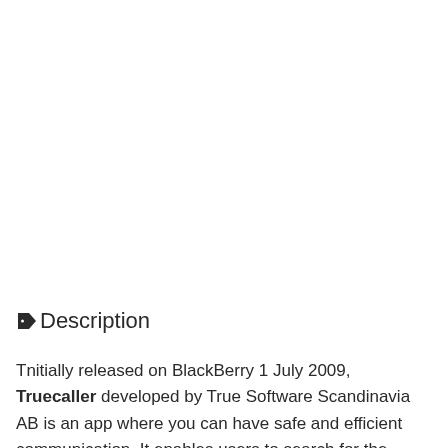Description
Tnitially released on BlackBerry 1 July 2009, Truecaller developed by True Software Scandinavia AB is an app where you can have safe and efficient communication. It enables users to search for the contact details with the